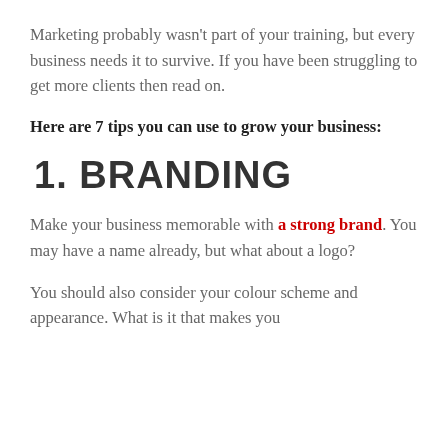Marketing probably wasn't part of your training, but every business needs it to survive. If you have been struggling to get more clients then read on.
Here are 7 tips you can use to grow your business:
1. BRANDING
Make your business memorable with a strong brand. You may have a name already, but what about a logo?
You should also consider your colour scheme and appearance. What is it that makes you